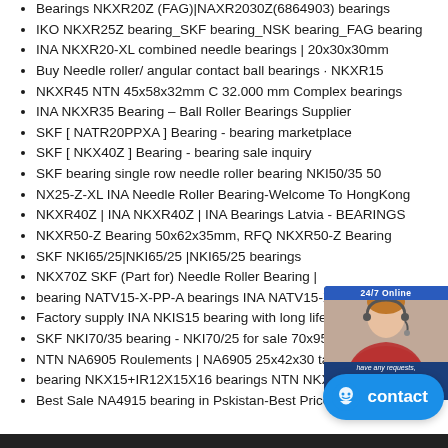Bearings NKXR20Z (FAG)|NAXR2030Z(6864903) bearings
IKO NKXR25Z bearing_SKF bearing_NSK bearing_FAG bearing
INA NKXR20-XL combined needle bearings | 20x30x30mm
Buy Needle roller/ angular contact ball bearings · NKXR15
NKXR45 NTN 45x58x32mm C 32.000 mm Complex bearings
INA NKXR35 Bearing – Ball Roller Bearings Supplier
SKF [ NATR20PPXA ] Bearing - bearing marketplace
SKF [ NKX40Z ] Bearing - bearing sale inquiry
SKF bearing single row needle roller bearing NKI50/35 50
NX25-Z-XL INA Needle Roller Bearing-Welcome To HongKong
NKXR40Z | INA NKXR40Z | INA Bearings Latvia - BEARINGS
NKXR50-Z Bearing 50x62x35mm, RFQ NKXR50-Z Bearing
SKF NKI65/25|NKI65/25 |NKI65/25 bearings
NKX70Z SKF (Part for) Needle Roller Bearing |
bearing NATV15-X-PP-A bearings INA NATV15-X-PP-A others
Factory supply INA NKIS15 bearing with long life in
SKF NKI70/35 bearing - NKI70/25 for sale 70x95x25
NTN NA6905 Roulements | NA6905 25x42x30 taille
bearing NKX15+IR12X15X16 bearings NTN NKX15+IR12X15X16
Best Sale NA4915 bearing in Pskistan-Best Price A
[Figure (screenshot): Live chat widget showing agent photo with '24/7 Online' bar, text 'have any requests, click here', and orange 'Quotation' button]
[Figure (illustration): Teal/blue contact button with smiley face chat icon and text 'contact']